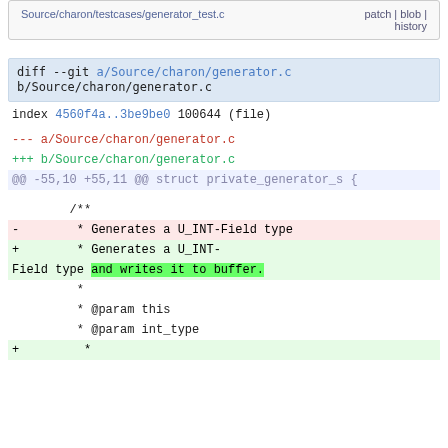| Source/charon/testcases/generator_test.c | patch | blob | history |
diff --git a/Source/charon/generator.c b/Source/charon/generator.c
index 4560f4a..3be9be0 100644 (file)
--- a/Source/charon/generator.c
+++ b/Source/charon/generator.c
@@ -55,10 +55,11 @@ struct private_generator_s {
/**
-        * Generates a U_INT-Field type
+        * Generates a U_INT-
Field type and writes it to buffer.
         *
         * @param this
         * @param int_type
+        *